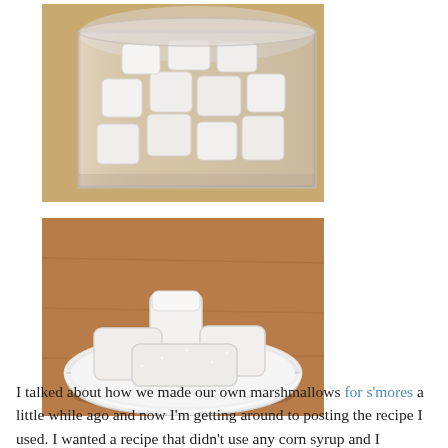[Figure (photo): Top-down view of white marshmallows in a glass jar on a wooden surface]
[Figure (photo): White handmade marshmallows stacked in a white bowl on a wooden table]
I talked about how we made our own marshmallows for s'mores a little while ago and now I'm getting around to posting the recipe I used. I wanted a recipe that didn't use any corn syrup and I